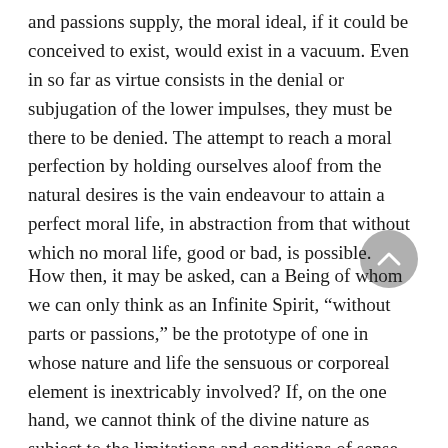and passions supply, the moral ideal, if it could be conceived to exist, would exist in a vacuum. Even in so far as virtue consists in the denial or subjugation of the lower impulses, they must be there to be denied. The attempt to reach a moral perfection by holding ourselves aloof from the natural desires is the vain endeavour to attain a perfect moral life, in abstraction from that without which no moral life, good or bad, is possible.
How then, it may be asked, can a Being of whom we can only think as an Infinite Spirit, “without parts or passions,” be the prototype of one in whose nature and life the sensuous or corporeal element is inextricably involved? If, on the one hand, we cannot think of the divine nature as subject to the limitations and conditions of sense, or connect with our idea of it the impulses and passions that have their origin in the